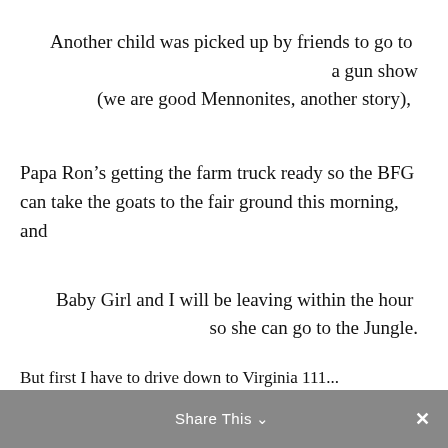Another child was picked up by friends to go to a gun show
(we are good Mennonites, another story),
Papa Ron’s getting the farm truck ready so the BFG can take the goats to the fair ground this morning, and
Baby Girl and I will be leaving within the hour so she can go to the Jungle.
Share This ⌄  ×
But first I have to drive down to Virginia 111...